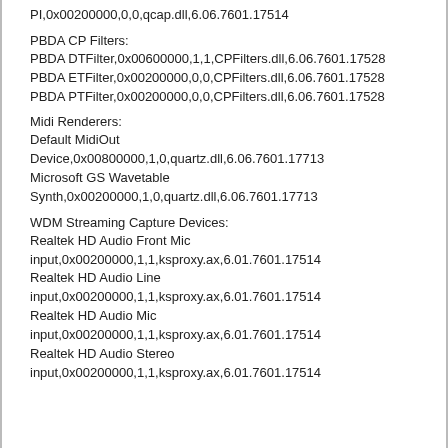PI,0x00200000,0,0,qcap.dll,6.06.7601.17514
PBDA CP Filters:
PBDA DTFilter,0x00600000,1,1,CPFilters.dll,6.06.7601.17528
PBDA ETFilter,0x00200000,0,0,CPFilters.dll,6.06.7601.17528
PBDA PTFilter,0x00200000,0,0,CPFilters.dll,6.06.7601.17528
Midi Renderers:
Default MidiOut Device,0x00800000,1,0,quartz.dll,6.06.7601.17713
Microsoft GS Wavetable Synth,0x00200000,1,0,quartz.dll,6.06.7601.17713
WDM Streaming Capture Devices:
Realtek HD Audio Front Mic input,0x00200000,1,1,ksproxy.ax,6.01.7601.17514
Realtek HD Audio Line input,0x00200000,1,1,ksproxy.ax,6.01.7601.17514
Realtek HD Audio Mic input,0x00200000,1,1,ksproxy.ax,6.01.7601.17514
Realtek HD Audio Stereo input,0x00200000,1,1,ksproxy.ax,6.01.7601.17514